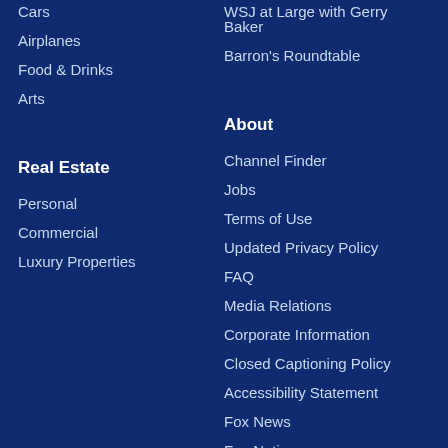Cars
Airplanes
Food & Drinks
Arts
Real Estate
Personal
Commercial
Luxury Properties
WSJ at Large with Gerry Baker
Barron's Roundtable
About
Channel Finder
Jobs
Terms of Use
Updated Privacy Policy
FAQ
Media Relations
Corporate Information
Closed Captioning Policy
Accessibility Statement
Fox News
Fox Nation
Fox Business Go
Apps & Products